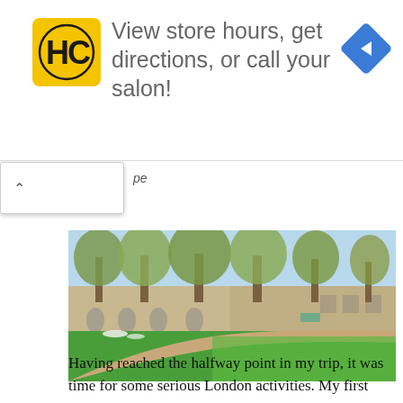[Figure (screenshot): Advertisement banner: HC salon logo (yellow square with HC initials), text 'View store hours, get directions, or call your salon!', blue diamond arrow icon on right. Below: browser autocomplete dropdown with caret up symbol and partial text 'pe'.]
[Figure (photo): Outdoor photo of a park with large trees, green lawn, curved path, and historic stone buildings in the background under a blue sky — appears to be in London.]
Having reached the halfway point in my trip, it was time for some serious London activities. My first sto...